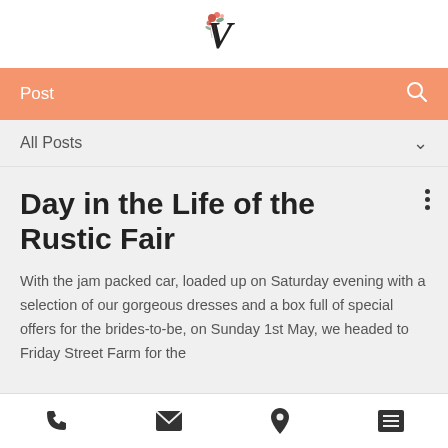[Figure (logo): Floral letter V logo with red roses and greenery]
Post
All Posts
Day in the Life of the Rustic Fair
With the jam packed car, loaded up on Saturday evening with a selection of our gorgeous dresses and a box full of special offers for the brides-to-be, on Sunday 1st May, we headed to Friday Street Farm for the
phone, email, location, menu icons